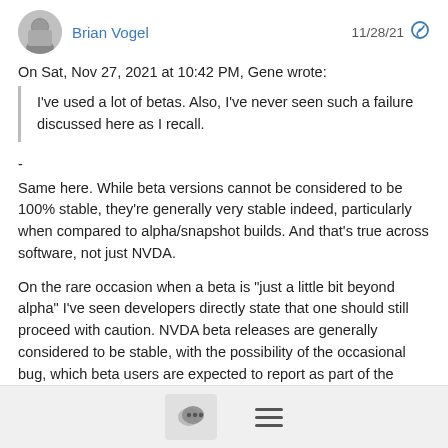Brian Vogel   11/28/21
On Sat, Nov 27, 2021 at 10:42 PM, Gene wrote:
I've used a lot of betas.  Also, I've never seen such a failure discussed here as I recall.
-
Same here.  While beta versions cannot be considered to be 100% stable, they're generally very stable indeed, particularly when compared to alpha/snapshot builds.  And that's true across software, not just NVDA.
On the rare occasion when a beta is "just a little bit beyond alpha" I've seen developers directly state that one should still proceed with caution.  NVDA beta releases are generally considered to be stable, with the possibility of the occasional bug, which beta users are expected to report as part of the bargain of using betas (also
[chat icon] [menu icon]